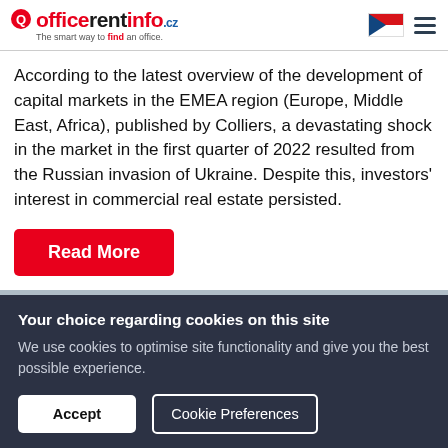officerentinfo.cz — The smart way to find an office.
According to the latest overview of the development of capital markets in the EMEA region (Europe, Middle East, Africa), published by Colliers, a devastating shock in the market in the first quarter of 2022 resulted from the Russian invasion of Ukraine. Despite this, investors' interest in commercial real estate persisted.
Read More
[Figure (photo): Partial view of a city skyline with buildings, partially obscured]
Your choice regarding cookies on this site
We use cookies to optimise site functionality and give you the best possible experience.
Accept
Cookie Preferences